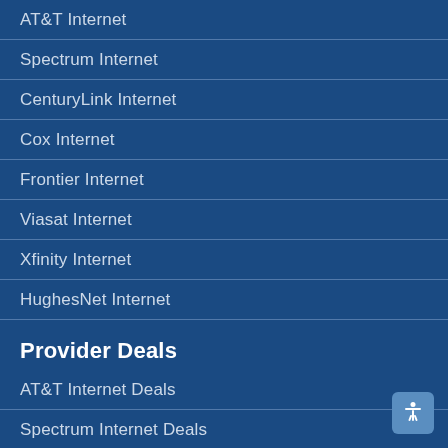AT&T Internet
Spectrum Internet
CenturyLink Internet
Cox Internet
Frontier Internet
Viasat Internet
Xfinity Internet
HughesNet Internet
Provider Deals
AT&T Internet Deals
Spectrum Internet Deals
Centurylink Internet Deals
Cox Internet Deals
Frontier Internet Deals